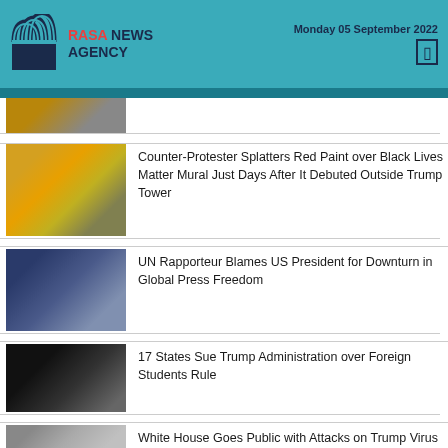RASA NEWS AGENCY — Monday 05 September 2022
[Figure (photo): Partially visible news thumbnail at the top, cropped]
Counter-Protester Splatters Red Paint over Black Lives Matter Mural Just Days After It Debuted Outside Trump Tower
[Figure (photo): People standing near a colorful Black Lives Matter mural on the street]
UN Rapporteur Blames US President for Downturn in Global Press Freedom
[Figure (photo): US President at a press podium saluting with American flags behind]
17 States Sue Trump Administration over Foreign Students Rule
[Figure (photo): Silhouette of a person against a blurred background]
White House Goes Public with Attacks on Trump Virus Chief
[Figure (photo): Two men in foreground, one older in a suit and tie, another partially visible]